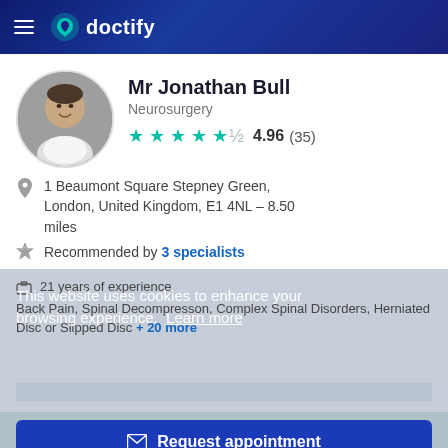doctify
[Figure (photo): Circular profile photo of Mr Jonathan Bull, a middle-aged man in a white shirt, smiling]
Mr Jonathan Bull
Neurosurgery
4.96 (35)
1 Beaumont Square Stepney Green, London, United Kingdom, E1 4NL – 8.50 miles
Recommended by 3 specialists
21 years of experience
Back Pain, Spinal Decompresson, Complex Spinal Disorders, Herniated Disc or Slipped Disc + 20 more
This website uses cookies to enhance your browsing experience.  Learn more
I agree!  Request appointment
Mr Jonathan Bull Consultant Ne...